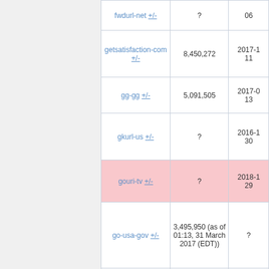| Name | Total links | Date |
| --- | --- | --- |
| fwdurl-net +/- | ? | 06 |
| getsatisfaction-com +/- | 8,450,272 | 2017-1 11 |
| gg-gg +/- | 5,091,505 | 2017-0 13 |
| gkurl-us +/- | ? | 2016-1 30 |
| gouri-tv +/- | ? | 2018-1 29 |
| go-usa-gov +/- | 3,495,950 (as of 01:13, 31 March 2017 (EDT)) | ? |
| hec-su +/- | 518175 | 2015-1 |